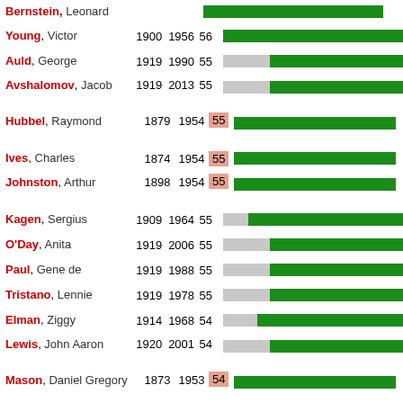Bernstein, Leonard — (partial row at top)
Young, Victor 1900 1956 56
Auld, George 1919 1990 55
Avshalomov, Jacob 1919 2013 55
Hubbel, Raymond 1879 1954 55
Ives, Charles 1874 1954 55
Johnston, Arthur 1898 1954 55
Kagen, Sergius 1909 1964 55
O'Day, Anita 1919 2006 55
Paul, Gene de 1919 1988 55
Tristano, Lennie 1919 1978 55
Elman, Ziggy 1914 1968 54
Lewis, John Aaron 1920 2001 54
Mason, Daniel Gregory 1873 1953 54
Mayfield, Percy 1920 1984 54
Farwell, Arthur 1877 1952 53